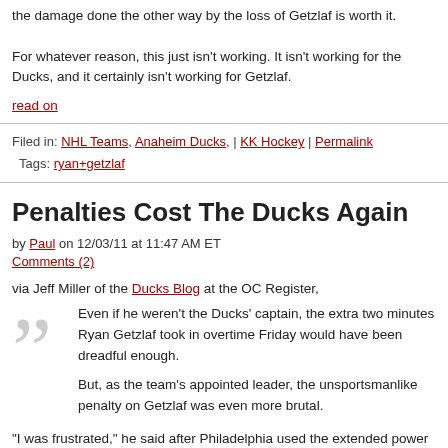the damage done the other way by the loss of Getzlaf is worth it.
For whatever reason, this just isn't working. It isn't working for the Ducks, and it certainly isn't working for Getzlaf.
read on
Filed in: NHL Teams, Anaheim Ducks, | KK Hockey | Permalink
Tags: ryan+getzlaf
Penalties Cost The Ducks Again
by Paul on 12/03/11 at 11:47 AM ET
Comments (2)
via Jeff Miller of the Ducks Blog at the OC Register,
Even if he weren't the Ducks' captain, the extra two minutes Ryan Getzlaf took in overtime Friday would have been dreadful enough.
But, as the team's appointed leader, the unsportsmanlike penalty on Getzlaf was even more brutal.
"I was frustrated," he said after Philadelphia used the extended power play to beat the Ducks, 4-3, in overtime. "It's an emotional game out there. I definitely…it won't happen again. That kind of stuff at the end of the game